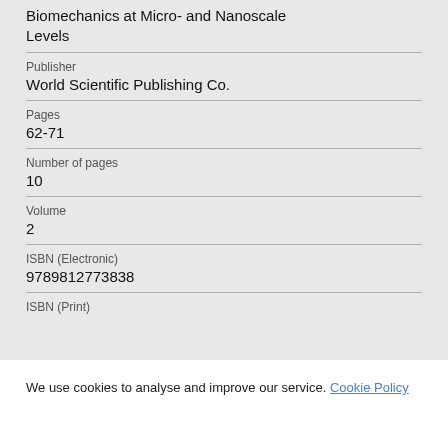Biomechanics at Micro- and Nanoscale Levels
Publisher
World Scientific Publishing Co.
Pages
62-71
Number of pages
10
Volume
2
ISBN (Electronic)
9789812773838
ISBN (Print)
We use cookies to analyse and improve our service. Cookie Policy